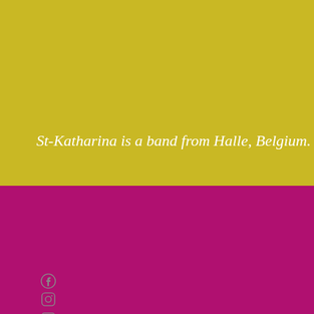St-Katharina is a band from Halle, Belgium.
[Figure (infographic): Six social media icons (Facebook, Instagram, YouTube, a music service, Spotify, and Bandcamp/upload) arranged vertically on the magenta section, colored in muted gray.]